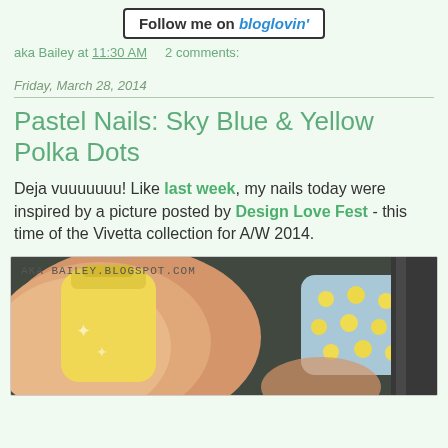[Figure (other): Follow me on bloglovin' button - rectangular button with text 'Follow me on bloglovin'' where bloglovin' is styled in blue italic bold]
aka Bailey at 11:30 AM    2 comments:
Friday, March 28, 2014
Pastel Nails: Sky Blue & Yellow Polka Dots
Deja vuuuuuuu! Like last week, my nails today were inspired by a picture posted by Design Love Fest - this time of the Vivetta collection for A/W 2014.
[Figure (photo): Close-up photo of a hand showing a nail painted sky blue with yellow polka dots, holding a yellow nail polish bottle. Watermark reads 'AKA BAILEY.BLOGSPOT.COM']